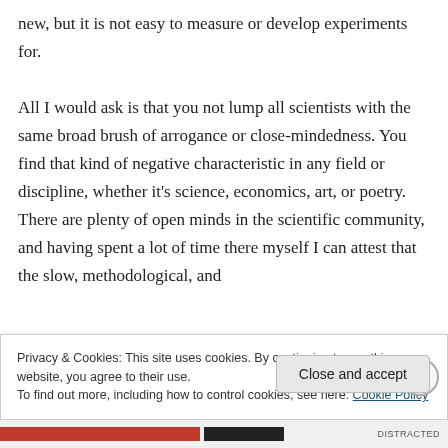new, but it is not easy to measure or develop experiments for.

All I would ask is that you not lump all scientists with the same broad brush of arrogance or close-mindedness. You find that kind of negative characteristic in any field or discipline, whether it's science, economics, art, or poetry. There are plenty of open minds in the scientific community, and having spent a lot of time there myself I can attest that the slow, methodological, and
Privacy & Cookies: This site uses cookies. By continuing to use this website, you agree to their use.
To find out more, including how to control cookies, see here: Cookie Policy
Close and accept